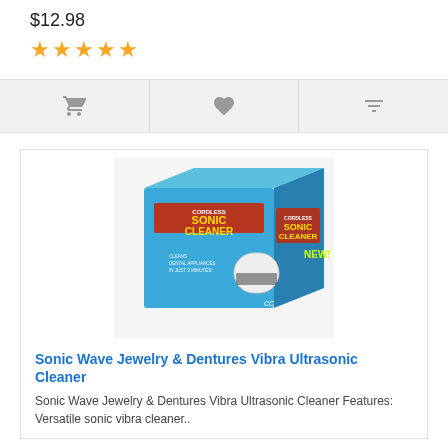$12.98
[Figure (other): Five gold/orange star rating icons]
[Figure (other): Action bar with cart icon, heart/wishlist icon, and compare icon on grey background]
[Figure (photo): Product photo of a blue box labeled CORDLESS SONIC CLEANER with NEW! text, showing the ultrasonic cleaner device beside the box on a white background]
Sonic Wave Jewelry & Dentures Vibra Ultrasonic Cleaner
Sonic Wave Jewelry & Dentures Vibra Ultrasonic Cleaner Features: Versatile sonic vibra cleaner..